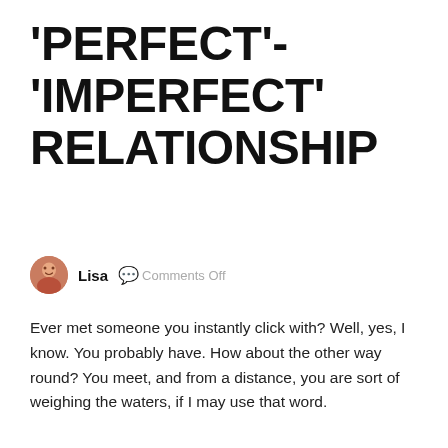'PERFECT'- 'IMPERFECT' RELATIONSHIP
Lisa   Comments Off
Ever met someone you instantly click with? Well, yes, I know. You probably have. How about the other way round? You meet, and from a distance, you are sort of weighing the waters, if I may use that word.
[Figure (photo): Friendship image placeholder with broken image icon and alt text 'Friendship']
It was during my first year after high school that I met her. Seeing her from a distance, she seemed jovial, fun to be with and friendly. She had this endearing smile (like mine, for those